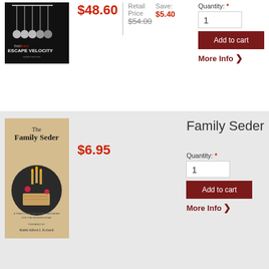[Figure (photo): Book cover for 'Escape Velocity' with Newton's cradle pendulums on dark background]
$48.60
Retail Price: $54.00
Save: $5.40
Quantity: *
1
Add to cart
More Info
[Figure (photo): Book cover for 'The Family Seder - A Traditional Passover Haggadah for the Modern Home' by Rabbi Alfred J. Kolatch, showing Seder items]
Family Seder
$6.95
Quantity: *
1
Add to cart
More Info